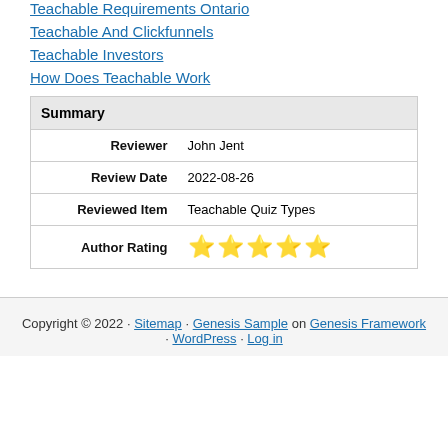Teachable Requirements Ontario
Teachable And Clickfunnels
Teachable Investors
How Does Teachable Work
| Summary |
| --- |
| Reviewer | John Jent |
| Review Date | 2022-08-26 |
| Reviewed Item | Teachable Quiz Types |
| Author Rating | ⭐⭐⭐⭐⭐ |
Copyright © 2022 · Sitemap · Genesis Sample on Genesis Framework · WordPress · Log in